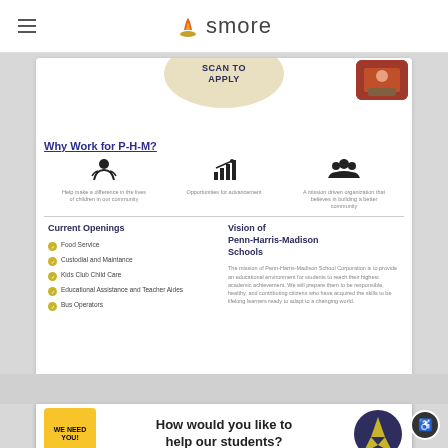smore
[Figure (infographic): SCAN TO APPLY oval badge with photo]
Why Work for P-H-M?
[Figure (infographic): Three icons: Help make a difference in the lives of children in our community; Opportunities for advancement; A mission driven organization that believes in building a better community]
Current Openings
Food Service
Custodial and Maintance
Kids Club Child Care
Educational Assistance and Teacher Aides
Bus Operators
Vision of Penn-Harris-Madison Schools
The mission of Penn-Harris-Madison School Corporation is to provide an educational environment for students to reach their highest academic achievement. We will prepare them to be responsible, healthy, and contributing citizens who have acquired the skills to be lifelong learners ready to adapt to a changing world.
Apply Here: applitrack.com/phm/onlineapp/
33800 Bittersweet Rd Mishawaka, IN 46545
(574)259-7941
[Figure (infographic): We Need You badge and How would you like to help our students? text with Penn-Harris-Madison Schools logo]